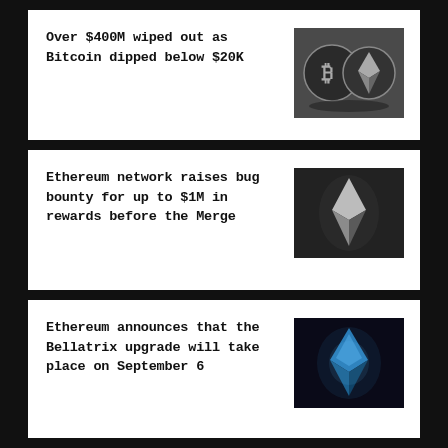Over $400M wiped out as Bitcoin dipped below $20K
[Figure (photo): Two cryptocurrency coins (Bitcoin and Ethereum) side by side in black and white]
Ethereum network raises bug bounty for up to $1M in rewards before the Merge
[Figure (photo): Ethereum diamond logo/symbol in dark grayscale]
Ethereum announces that the Bellatrix upgrade will take place on September 6
[Figure (photo): Blue glowing Ethereum diamond logo on dark background]